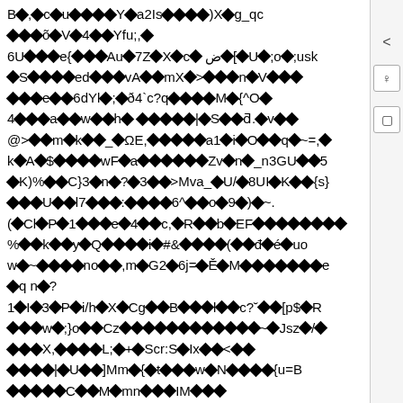B◆,◆c◆u◆◆◆◆Y◆a2Is◆◆◆◆)X◆g_qc ◆◆◆õ◆V◆4◆◆Yfu;,◆ 6U◆◆◆e{◆◆◆Au◆7Z◆X◆c◆ض◆[◆U◆;o◆;usk ◆S◆◆◆◆ed◆◆◆vA◆◆mX◆>◆◆◆n◆V◆◆◆ ◆◆◆e◆◆6dYl◆;◆ð4`c?q◆◆◆◆M◆{^O◆ 4◆◆◆a◆◆w◆◆h◆ ◆◆◆◆◆|◆S◆◆ƌ.◆v◆◆ @>◆◆m◆k◆◆_◆ΩE,◆◆◆◆◆a1◆i◆O◆◆q◆~=,◆ k◆A◆$◆◆◆◆wF◆a◆◆◆◆◆◆Zv◆n◆_n3GU◆◆5 ◆K)%◆◆C}3◆n◆?◆3◆◆>Mva_◆U/◆8UI◆K◆◆{s} ◆◆◆U◆◆l7◆◆◆:◆◆◆◆6^◆◆o◆9◆)◆~. (◆Cl◆P◆1◆◆◆e◆4◆◆c,◆R◆◆b◆EF◆◆◆◆◆◆◆◆ %◆◆k◆◆y◆Q◆◆◆◆i◆#&◆◆◆◆(◆◆đ◆é◆uo w◆~◆◆◆◆no◆◆,m◆G2◆6j=◆Ě◆M◆◆◆◆◆◆◆e ◆q n◆? 1◆I◆3◆P◆i/h◆X◆Cg◆◆B◆◆◆l◆◆c?˘◆◆[p$◆R ◆◆◆w◆;}o◆◆Cz◆◆◆◆◆◆◆◆◆◆◆◆◆~◆Jsz◆/◆ ◆◆◆X,◆◆◆◆L;◆+◆Scr:S◆Ix◆◆<◆◆ ◆◆◆◆|◆U◆◆]Mm◆{◆t◆◆◆w◆N◆◆◆◆{u=B ◆◆◆◆◆C◆◆M◆mn◆◆◆IM◆◆◆